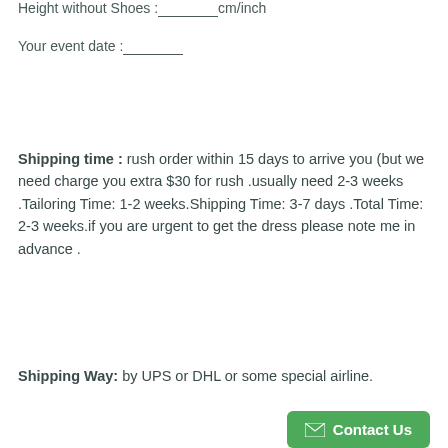Height without Shoes :________cm/inch
Your event date :________
Shipping time : rush order within 15 days to arrive you (but we need charge you extra $30 for rush .usually need 2-3 weeks .Tailoring Time: 1-2 weeks.Shipping Time: 3-7 days .Total Time: 2-3 weeks.if you are urgent to get the dress please note me in advance .
Shipping Way: by UPS or DHL or some special airline.